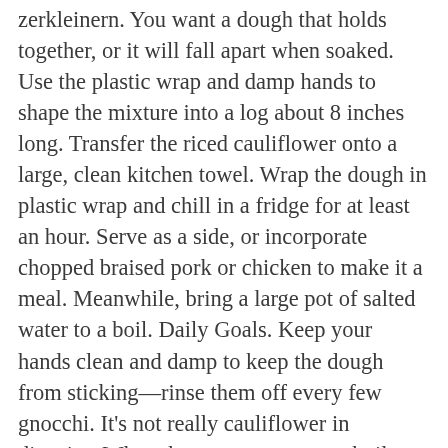zerkleinern. You want a dough that holds together, or it will fall apart when soaked. Use the plastic wrap and damp hands to shape the mixture into a log about 8 inches long. Transfer the riced cauliflower onto a large, clean kitchen towel. Wrap the dough in plastic wrap and chill in a fridge for at least an hour. Serve as a side, or incorporate chopped braised pork or chicken to make it a meal. Meanwhile, bring a large pot of salted water to a boil. Daily Goals. Keep your hands clean and damp to keep the dough from sticking—rinse them off every few gnocchi. It's not really cauliflower in disguise. When the water comes to a boil, test cook one gnocchi: add it to the pot, gently stir it so it doesn't sit on the bottom of the pot, stop stirring and wait for it to float to the surface, about 1 to 2 minutes. When it's all combined, give the cauliflower one more twist and squeeze. Classic Thumbprint Cookies made sugar free, gluten free and nut free too! Sodium 1,839g. In this gnocchi, riced cauliflower takes the place of the traditional potatoes to form a low-carb, gluten-free take on an Italian classic. Bring up the corners and sides and twist into a bundle, to squeeze out as much water from the cauliflower